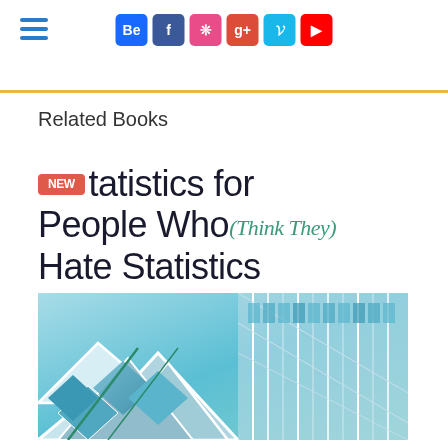Related Books page with social icons and hamburger menu
Related Books
[Figure (illustration): Book cover for 'Statistics for People Who (Think They) Hate Statistics' with a NEW badge, abstract geometric blue/teal architecture image at bottom, and copyright material watermark]